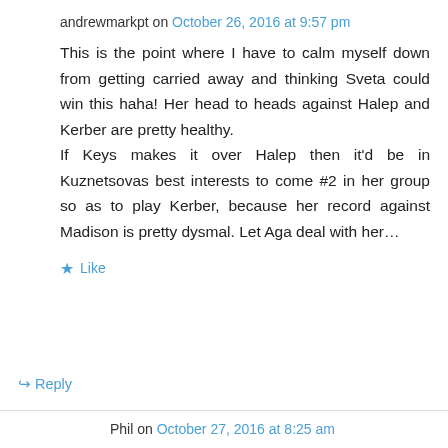andrewmarkpt on October 26, 2016 at 9:57 pm
This is the point where I have to calm myself down from getting carried away and thinking Sveta could win this haha! Her head to heads against Halep and Kerber are pretty healthy.
If Keys makes it over Halep then it’d be in Kuznetsovas best interests to come #2 in her group so as to play Kerber, because her record against Madison is pretty dysmal. Let Aga deal with her…
★ Like
↪ Reply
Phil on October 27, 2016 at 8:25 am